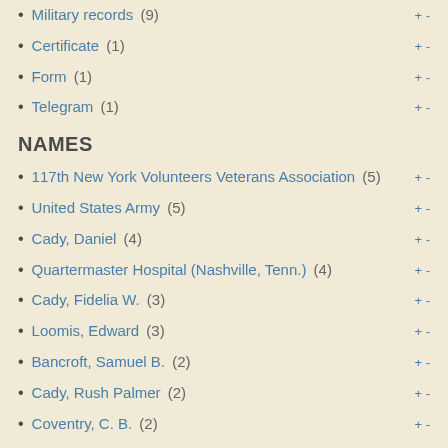Military records (9)
Certificate (1)
Form (1)
Telegram (1)
NAMES
117th New York Volunteers Veterans Association (5)
United States Army (5)
Cady, Daniel (4)
Quartermaster Hospital (Nashville, Tenn.) (4)
Cady, Fidelia W. (3)
Loomis, Edward (3)
Bancroft, Samuel B. (2)
Cady, Rush Palmer (2)
Coventry, C. B. (2)
Pease, Harrison (2)
Show more
TOPICS